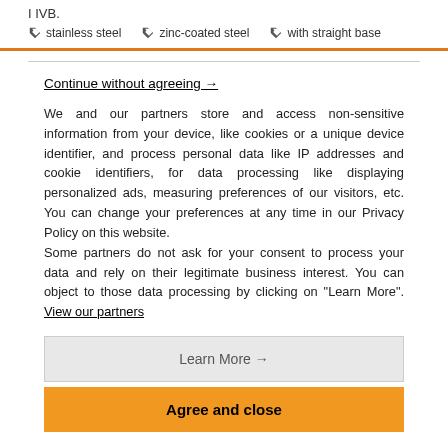I IVB.
stainless steel   zinc-coated steel   with straight base
Continue without agreeing →
We and our partners store and access non-sensitive information from your device, like cookies or a unique device identifier, and process personal data like IP addresses and cookie identifiers, for data processing like displaying personalized ads, measuring preferences of our visitors, etc. You can change your preferences at any time in our Privacy Policy on this website.
Some partners do not ask for your consent to process your data and rely on their legitimate business interest. You can object to those data processing by clicking on "Learn More". View our partners
Learn More →
Agree and close